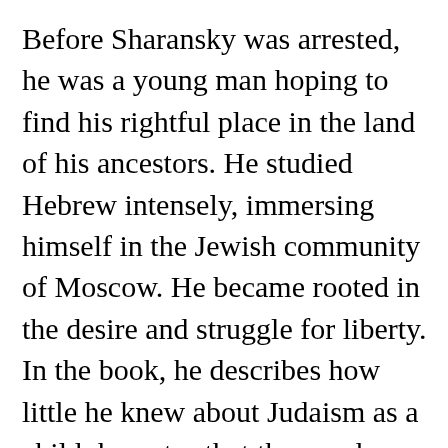Before Sharansky was arrested, he was a young man hoping to find his rightful place in the land of his ancestors. He studied Hebrew intensely, immersing himself in the Jewish community of Moscow. He became rooted in the desire and struggle for liberty. In the book, he describes how little he knew about Judaism as a child; he notes that the word “synagogue” was only heard in the phrase, “and the director doesn’t want to be accused of turning the place into a